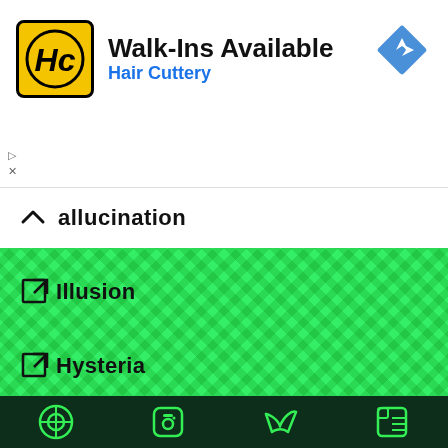[Figure (screenshot): Hair Cuttery advertisement banner with yellow HC logo, 'Walk-Ins Available' headline, blue 'Hair Cuttery' subtitle, and blue navigation diamond icon on the right]
hallucination
Illusion
Hysteria
Perceptual Disorders
About Viquepedia
Viquepedia.com is an online encyclopedia created primarily to make educational topics understandable and accessible to everyone free of charge. Although a work in progress, this educational portal boasts huge amount of information on many topics across many areas of study, and promises more.
[Figure (infographic): Social media icons row at bottom: circular icon, Facebook icon, Twitter bird, LinkedIn icon]